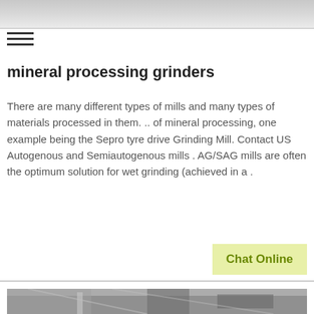[Figure (photo): Gray industrial or landscape banner image at the top of the page]
[Figure (other): Hamburger menu icon with three horizontal lines]
mineral processing grinders
There are many different types of mills and many types of materials processed in them. .. of mineral processing, one example being the Sepro tyre drive Grinding Mill. Contact US Autogenous and Semiautogenous mills . AG/SAG mills are often the optimum solution for wet grinding (achieved in a .
[Figure (other): Chat Online button with light yellow-green background]
[Figure (photo): Industrial facility interior showing large cylindrical mill or grinding equipment under a metal roof structure, grayscale photo]